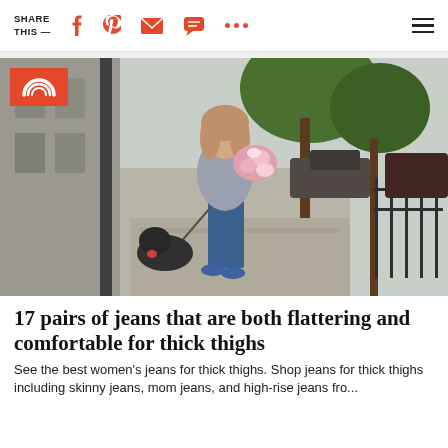SHARE THIS —
[Figure (photo): A smiling woman walks a black dog on a sidewalk in an urban setting, carrying a bouquet of flowers. She is wearing blue jeans, a grey button-up shirt, and blue sneakers. Trees and parked cars are visible in the background. A Today show logo (red rectangle with rainbow arc) appears in the top left corner of the image.]
17 pairs of jeans that are both flattering and comfortable for thick thighs
See the best women's jeans for thick thighs. Shop jeans for thick thighs including skinny jeans, mom jeans, and high-rise jeans fro...